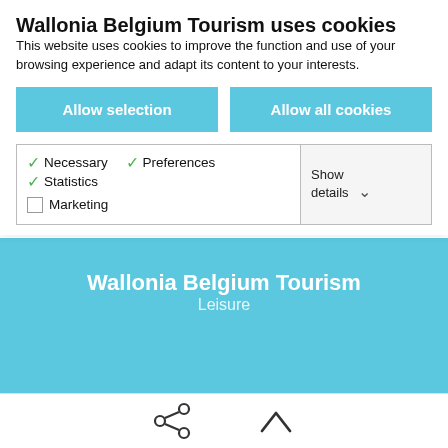Wallonia Belgium Tourism uses cookies
This website uses cookies to improve the function and use of your browsing experience and adapt its content to your interests.
Allow selection
Allow all cookies
| ✓ Necessary | ✓ Preferences | ✓ Statistics | Show details ∨ |
| ☐ Marketing |  |  |  |
[Figure (logo): WBT Tourism logo with black badge and italic text]
Wallonia Belgium Tourism
Leisure
[Figure (illustration): Share icon and chevron up icon in bottom navigation bar]